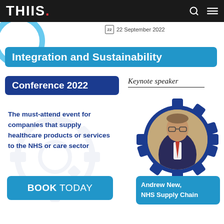THIIS.
22 September 2022
Integration and Sustainability
Conference 2022
Keynote speaker
The must-attend event for companies that supply healthcare products or services to the NHS or care sector
[Figure (photo): Portrait photo of Andrew New, NHS Supply Chain keynote speaker, shown inside a dark blue gear shape]
BOOK TODAY
Andrew New, NHS Supply Chain